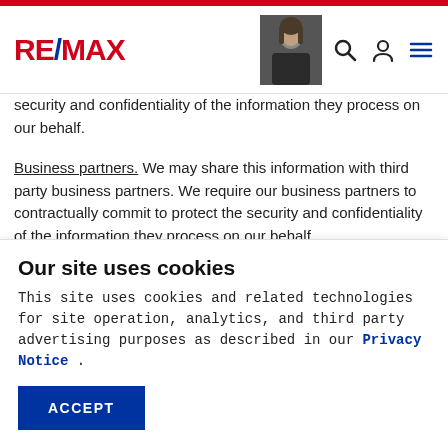RE/MAX [navigation bar with logo, profile photo, search icon, user icon, menu icon]
security and confidentiality of the information they process on our behalf.
Business partners. We may share this information with third party business partners. We require our business partners to contractually commit to protect the security and confidentiality of the information they process on our behalf.
Anonymized information. We may share analyses of our server logs, traffic, or information relating to
Our site uses cookies
This site uses cookies and related technologies for site operation, analytics, and third party advertising purposes as described in our Privacy Notice .
ACCEPT